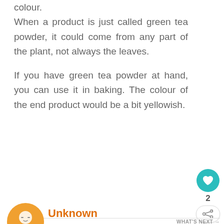colour. When a product is just called green tea powder, it could come from any part of the plant, not always the leaves.

If you have green tea powder at hand, you can use it in baking. The colour of the end product would be a bit yellowish.
[Figure (other): Teal circular like/heart button with heart icon, showing count 2 below it, and a share button below that]
[Figure (other): What's Next banner with matcha waffles thumbnail and text 'Matcha Waffles with...']
[Figure (other): Orange circular avatar with anonymous person silhouette]
Unknown